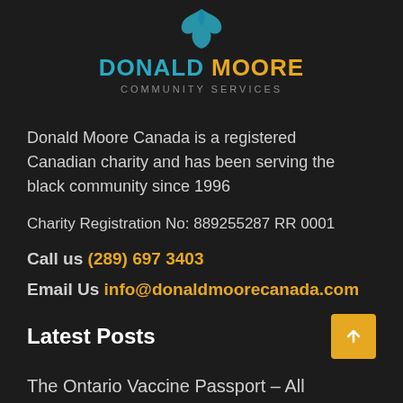[Figure (logo): Donald Moore Community Services logo with teal bird figure, teal 'DONALD' text, gold 'MOORE' text, and gray 'COMMUNITY SERVICES' subtitle]
Donald Moore Canada is a registered Canadian charity and has been serving the black community since 1996
Charity Registration No: 889255287 RR 0001
Call us (289) 697 3403
Email Us info@donaldmoorecanada.com
Latest Posts
The Ontario Vaccine Passport – All you need to know